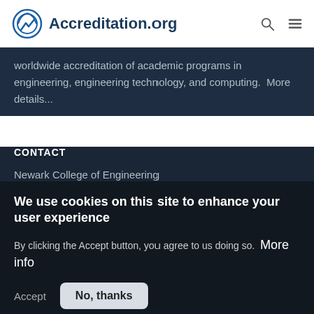Accreditation.org
worldwide accreditation of academic programs in engineering, engineering technology, and computing.  More details...
CONTACT
Newark College of Engineering
New Jersey Institute of Technology
Ph: 973-596-6506
accreditation@njit.org
We use cookies on this site to enhance your user experience
By clicking the Accept button, you agree to us doing so.  More info
Accept
No, thanks